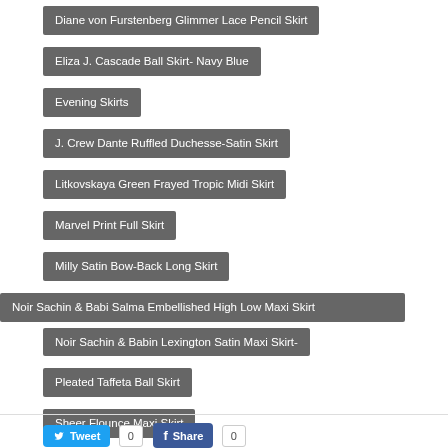Diane von Furstenberg Glimmer Lace Pencil Skirt
Eliza J. Cascade Ball Skirt- Navy Blue
Evening Skirts
J. Crew Dante Ruffled Duchesse-Satin Skirt
Litkovskaya Green Frayed Tropic Midi Skirt
Marvel Print Full Skirt
Milly Satin Bow-Back Long Skirt
Noir Sachin & Babi Salma Embellished High Low Maxi Skirt
Noir Sachin & Babin Lexington Satin Maxi Skirt-
Pleated Taffeta Ball Skirt
Sheer Flounce Maxi Skirt
Tweet 0  Share 0